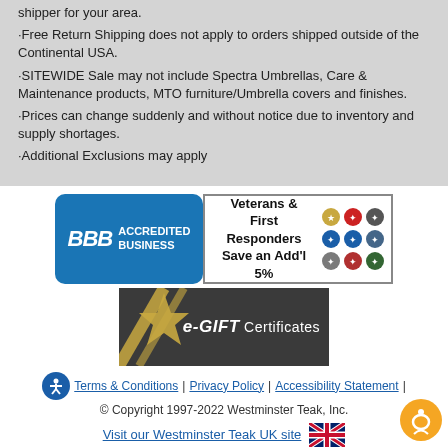shipper for your area.
·Free Return Shipping does not apply to orders shipped outside of the Continental USA.
·SITEWIDE Sale may not include Spectra Umbrellas, Care & Maintenance products, MTO furniture/Umbrella covers and finishes.
·Prices can change suddenly and without notice due to inventory and supply shortages.
·Additional Exclusions may apply
[Figure (logo): BBB Accredited Business badge]
[Figure (infographic): Veterans & First Responders Save an Add'l 5% badge with military/service emblems]
[Figure (infographic): e-GIFT Certificates banner with gold ribbon]
Terms & Conditions | Privacy Policy | Accessibility Statement | © Copyright 1997-2022 Westminster Teak, Inc.
Visit our Westminster Teak UK site 🇬🇧